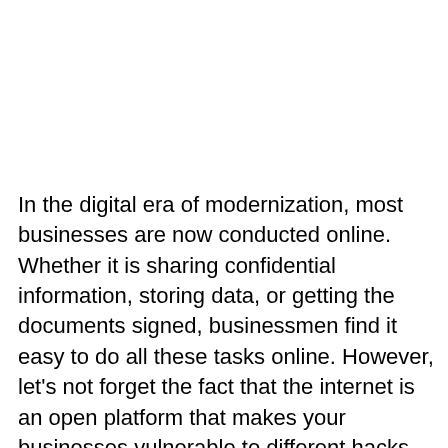In the digital era of modernization, most businesses are now conducted online. Whether it is sharing confidential information, storing data, or getting the documents signed, businessmen find it easy to do all these tasks online. However, let's not forget the fact that the internet is an open platform that makes your businesses vulnerable to different hacks. Hackers these days have opted for various different kinds of ways to breach your data and out of all those, the most versatile, potent, and devastating, according to the